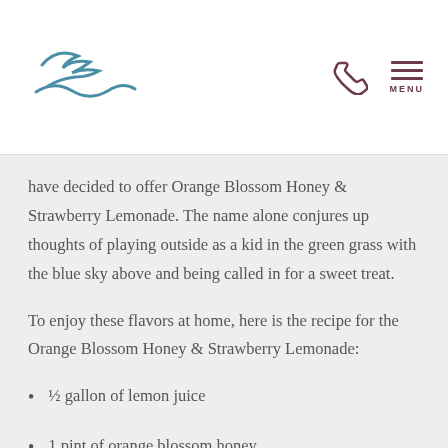Logo, phone icon, MENU
have decided to offer Orange Blossom Honey & Strawberry Lemonade. The name alone conjures up thoughts of playing outside as a kid in the green grass with the blue sky above and being called in for a sweet treat.
To enjoy these flavors at home, here is the recipe for the Orange Blossom Honey & Strawberry Lemonade:
½ gallon of lemon juice
1 pint of orange blossom honey